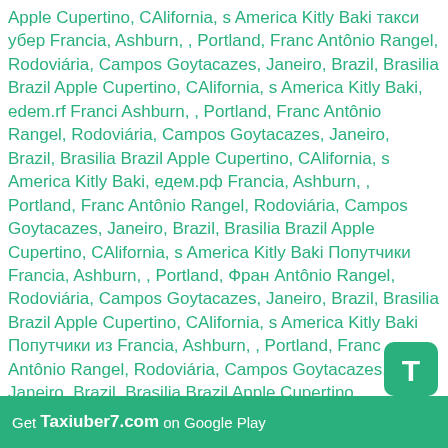Apple Cupertino, CAlifornia, s America Kitly Baki такси убер Francia, Ashburn, , Portland, Franc Antônio Rangel, Rodoviária, Campos Goytacazes, Janeiro, Brazil, Brasilia Brazil Apple Cupertino, CAlifornia, s America Kitly Baki, edem.rf Franci Ashburn, , Portland, Franc Antônio Rangel, Rodoviária, Campos Goytacazes, Janeiro, Brazil, Brasilia Brazil Apple Cupertino, CAlifornia, s America Kitly Baki, едем.рф Francia, Ashburn, , Portland, Franc Antônio Rangel, Rodoviária, Campos Goytacazes, Janeiro, Brazil, Brasilia Brazil Apple Cupertino, CAlifornia, s America Kitly Baki Попутчики Francia, Ashburn, , Portland, Franc Antônio Rangel, Rodoviária, Campos Goytacazes, Janeiro, Brazil, Brasilia Brazil Apple Cupertino, CAlifornia, s America Kitly Baki Попутчики из Francia, Ashburn, , Portland, Franc Antônio Rangel, Rodoviária, Campos Goytacazes, Janeiro, Brazil, Brasilia Brazil Apple Cupertino, CAlifornia, s America Kitly Baki blablacar from Francia, Ashburn, , Portland, Franc Antônio Rangel, Rodoviária, Campos Goytacazes, Janeiro, Brazil, Brasilia Brazil Apple Cupertino, CAlifornia, s America Kitly Baki to Blablabus Francia, Ashburn, , Portland, Franc Antônio Rangel, Rodoviária, Campos Goytacazes, Janeiro, Brazil, Brasilia Brazil Apple Cupertino, CAlifornia, s America Kitly Baki, Blablataxi Francia, Ashburn, , , Portland, Franc Antônio Rangel, Rodoviária, Campos Goytacazes, Janeiro, Brazil, Brasilia Brazil Apple Cupertino, CAlifornia, s America Kitly Baki, Blablataxe Francia, Ashburn, , Portland, Franc Antônio Rangel, Rodoviária, Campos Goytacazes, Janeiro, Brazil,
[Figure (other): App icon showing letter T on green rounded rectangle background]
Get Taxiuber7.com on Google Play